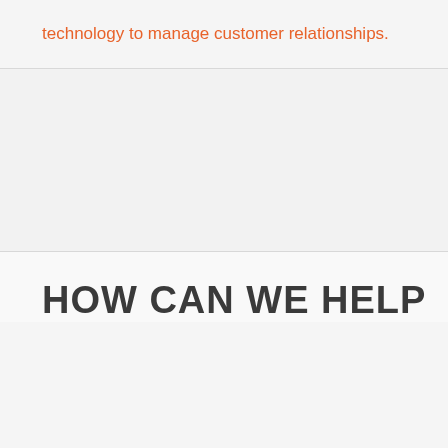technology to manage customer relationships.
HOW CAN WE HELP